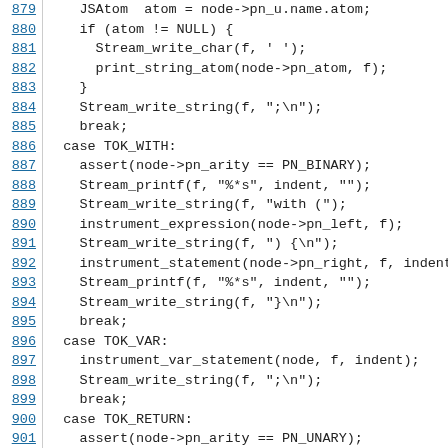[Figure (screenshot): Source code listing showing lines 879-901 of a C/JavaScript file with line numbers as hyperlinks on the left and monospace code on the right, displaying a switch-case block handling TOK_WITH, TOK_VAR, and TOK_RETURN cases with function calls like Stream_write_char, print_string_atom, Stream_write_string, assert, Stream_printf, instrument_expression, instrument_statement, instrument_var_statement.]